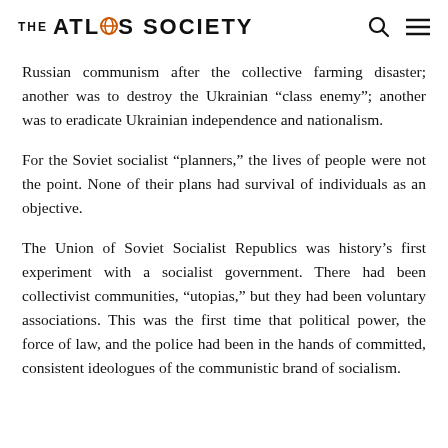THE ATLAS SOCIETY
Russian communism after the collective farming disaster; another was to destroy the Ukrainian “class enemy”; another was to eradicate Ukrainian independence and nationalism.
For the Soviet socialist “planners,” the lives of people were not the point. None of their plans had survival of individuals as an objective.
The Union of Soviet Socialist Republics was history’s first experiment with a socialist government. There had been collectivist communities, “utopias,” but they had been voluntary associations. This was the first time that political power, the force of law, and the police had been in the hands of committed, consistent ideologues of the communistic brand of socialism.